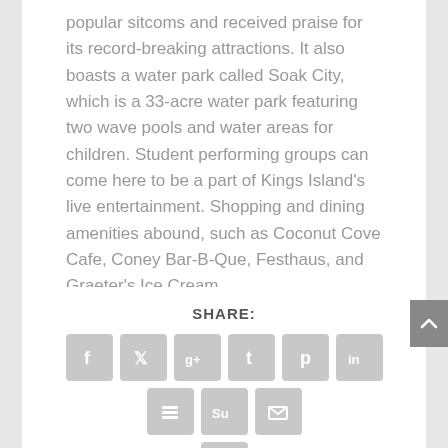popular sitcoms and received praise for its record-breaking attractions. It also boasts a water park called Soak City, which is a 33-acre water park featuring two wave pools and water areas for children. Student performing groups can come here to be a part of Kings Island's live entertainment. Shopping and dining amenities abound, such as Coconut Cove Cafe, Coney Bar-B-Que, Festhaus, and Graeter's Ice Cream.
SHARE:
[Figure (infographic): Social sharing icons row: Facebook (f), Twitter (bird), Google+ (g+), Tumblr (t), Pinterest (p), LinkedIn (in), Buffer (layers), StumbleUpon (su), Email (envelope). Second row: Print (printer).]